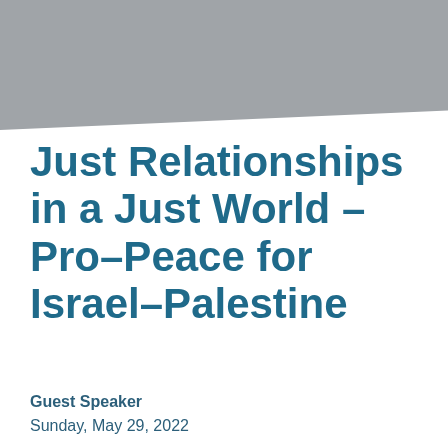[Figure (other): Gray diagonal banner across the top of the page]
Just Relationships in a Just World – Pro–Peace for Israel–Palestine
Guest Speaker
Sunday, May 29, 2022